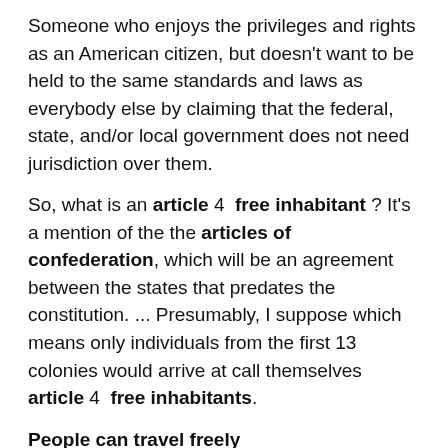Someone who enjoys the privileges and rights as an American citizen, but doesn't want to be held to the same standards and laws as everybody else by claiming that the federal, state, and/or local government does not need jurisdiction over them.
So, what is an article 4  free inhabitant ? It's a mention of the the articles of confederation, which will be an agreement between the states that predates the constitution. ... Presumably, I suppose which means only individuals from the first 13 colonies would arrive at call themselves article 4  free inhabitants.
People can travel freely
Article 4: People can travel freely from state to state; however, criminals who left the state where they committed the crime would be repaid for trial. Article 5: Creates the Congress of the Confederation.  Article 8: Each state